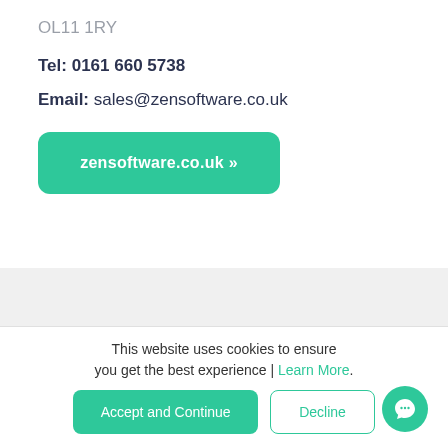OL11 1RY
Tel: 0161 660 5738
Email: sales@zensoftware.co.uk
[Figure (other): Green rounded button linking to zensoftware.co.uk]
[Figure (photo): Faded background photo of people]
This website uses cookies to ensure you get the best experience | Learn More.
Accept and Continue
Decline